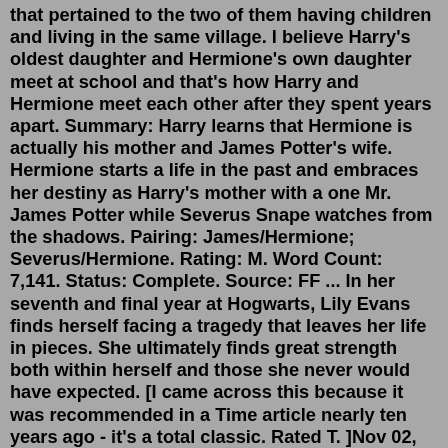that pertained to the two of them having children and living in the same village. I believe Harry's oldest daughter and Hermione's own daughter meet at school and that's how Harry and Hermione meet each other after they spent years apart. Summary: Harry learns that Hermione is actually his mother and James Potter's wife. Hermione starts a life in the past and embraces her destiny as Harry's mother with a one Mr. James Potter while Severus Snape watches from the shadows. Pairing: James/Hermione; Severus/Hermione. Rating: M. Word Count: 7,141. Status: Complete. Source: FF ... In her seventh and final year at Hogwarts, Lily Evans finds herself facing a tragedy that leaves her life in pieces. She ultimately finds great strength both within herself and those she never would have expected. [I came across this because it was recommended in a Time article nearly ten years ago - it's a total classic. Rated T. ]Nov 02, 2021 · A Short little story involving Fleur and a Gryffindor Male Reader in his Fifth Year. The Golden